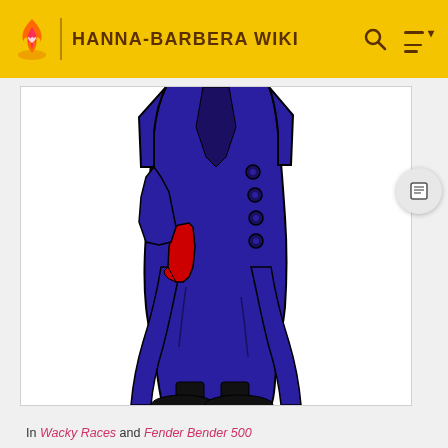HANNA-BARBERA WIKI
[Figure (illustration): Illustration of a cartoon character's body (from neck to feet) wearing a long dark blue/purple double-breasted coat with large black buttons, holding a red boot, with black legs and large black shoes. The character's head is not visible (cropped). White background.]
In Wacky Races and Fender Bender 500